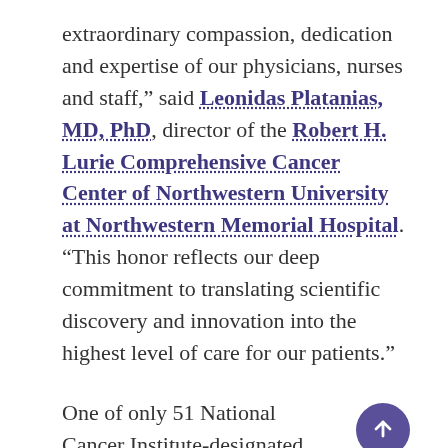extraordinary compassion, dedication and expertise of our physicians, nurses and staff," said Leonidas Platanias, MD, PhD, director of the Robert H. Lurie Comprehensive Cancer Center of Northwestern University at Northwestern Memorial Hospital. "This honor reflects our deep commitment to translating scientific discovery and innovation into the highest level of care for our patients."
One of only 51 National Cancer Institute-designated Comprehensive Cancer Centers, the Lurie Cancer Center and its affiliated hospitals treat nearly 18,000 new cancer patients each year, offering innovative approaches, personalized care and state-of-